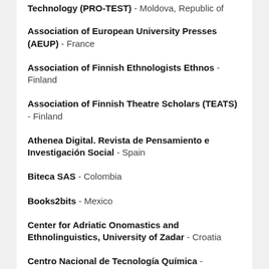Technology (PRO-TEST) - Moldova, Republic of
Association of European University Presses (AEUP) - France
Association of Finnish Ethnologists Ethnos - Finland
Association of Finnish Theatre Scholars (TEATS) - Finland
Athenea Digital. Revista de Pensamiento e Investigación Social - Spain
Biteca SAS - Colombia
Books2bits - Mexico
Center for Adriatic Onomastics and Ethnolinguistics, University of Zadar - Croatia
Centro Nacional de Tecnología Química - Venezuela
CIVILICOM - Australia